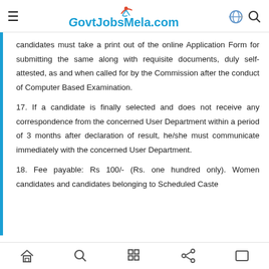GovtJobsMela.com
candidates must take a print out of the online Application Form for submitting the same along with requisite documents, duly self-attested, as and when called for by the Commission after the conduct of Computer Based Examination.
17. If a candidate is finally selected and does not receive any correspondence from the concerned User Department within a period of 3 months after declaration of result, he/she must communicate immediately with the concerned User Department.
18. Fee payable: Rs 100/- (Rs. one hundred only). Women candidates and candidates belonging to Scheduled Caste